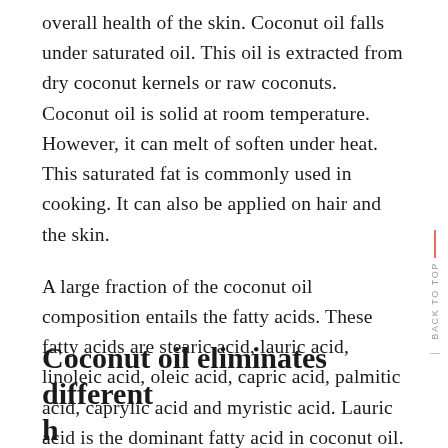overall health of the skin. Coconut oil falls under saturated oil. This oil is extracted from dry coconut kernels or raw coconuts. Coconut oil is solid at room temperature. However, it can melt of soften under heat. This saturated fat is commonly used in cooking. It can also be applied on hair and the skin.
A large fraction of the coconut oil composition entails the fatty acids. These fatty acids are stearic acid, lauric acid, linoleic acid, oleic acid, capric acid, palmitic acid, caprylic acid and myristic acid. Lauric acid is the dominant fatty acid in coconut oil.
Coconut oil eliminates different harmful bacteria causing